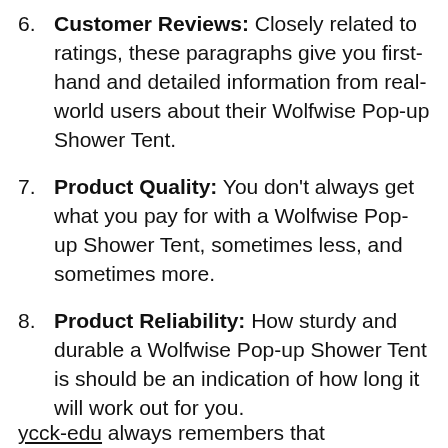6. Customer Reviews: Closely related to ratings, these paragraphs give you first-hand and detailed information from real-world users about their Wolfwise Pop-up Shower Tent.
7. Product Quality: You don't always get what you pay for with a Wolfwise Pop-up Shower Tent, sometimes less, and sometimes more.
8. Product Reliability: How sturdy and durable a Wolfwise Pop-up Shower Tent is should be an indication of how long it will work out for you.
ycck-edu always remembers that